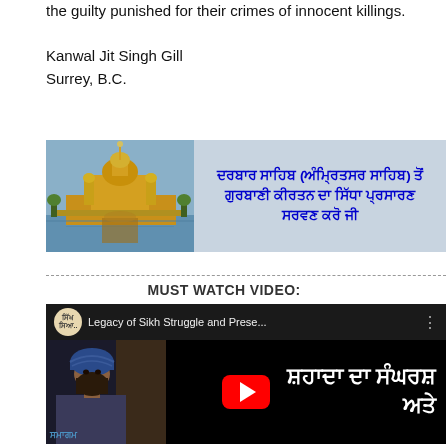the guilty punished for their crimes of innocent killings.
Kanwal Jit Singh Gill
Surrey, B.C.
[Figure (other): Banner image showing the Golden Temple (Darbar Sahib, Amritsar Sahib) on the left side with Punjabi text on the right: ਦਰਬਾਰ ਸਾਹਿਬ (ਅੰਮ੍ਰਿਤਸਰ ਸਾਹਿਬ) ਤੋਂ ਗੁਰਬਾਣੀ ਕੀਰਤਨ ਦਾ ਸਿੱਧਾ ਪ੍ਰਸਾਰਣ ਸਰਵਣ ਕਰੋ ਜੀ]
MUST WATCH VIDEO:
[Figure (screenshot): YouTube video thumbnail showing 'Legacy of Sikh Struggle and Prese...' with a man in blue turban on left and Punjabi text on right reading ਸ਼ਹਾਦਾ ਦਾ ਸੰਘਰਸ਼ ਅਤੇ. A red YouTube play button is visible in the center. A Sikh channel logo (ਸਿੱਖ ਸਿਆਸਤ) is shown.]